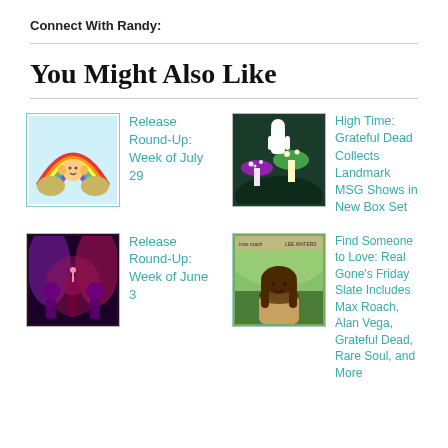Connect With Randy:
You Might Also Like
[Figure (illustration): Rainbow with cartoon character and golden bells illustration]
Release Round-Up: Week of July 29
[Figure (illustration): Colorful mushrooms with dark background, Grateful Dead themed artwork]
High Time: Grateful Dead Collects Landmark MSG Shows in New Box Set
[Figure (photo): Band photo with purple and pink lighting, multiple performers]
Release Round-Up: Week of June 3
[Figure (photo): Portrait of a person with long hair outdoors, vintage album cover style]
Find Someone to Love: Real Gone's Friday Slate Includes Max Roach, Alan Vega, Grateful Dead, Rare Soul, and More